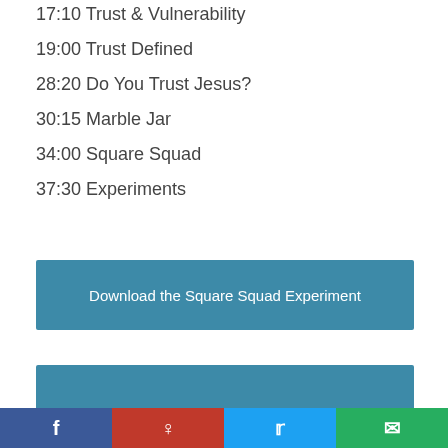17:10 Trust & Vulnerability
19:00 Trust Defined
28:20 Do You Trust Jesus?
30:15 Marble Jar
34:00 Square Squad
37:30 Experiments
[Figure (other): Blue button labeled 'Download the Square Squad Experiment']
[Figure (other): Blue banner/box partially visible]
Facebook | Pinterest | Twitter | Email social share bar